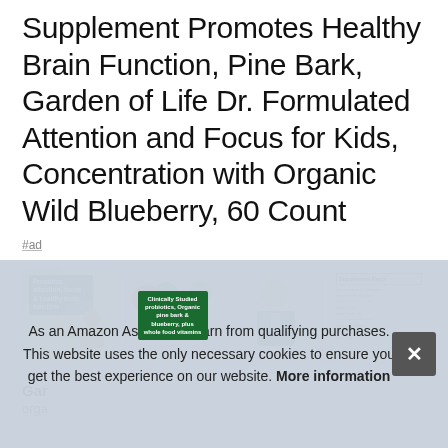Supplement Promotes Healthy Brain Function, Pine Bark, Garden of Life Dr. Formulated Attention and Focus for Kids, Concentration with Organic Wild Blueberry, 60 Count
#ad
[Figure (screenshot): Row of four product image thumbnails: 1) child studying with blue label 'Promotes attention, focus & healthy brain function', 2) fruits/berries with green label 'Clinically Studied probiotics, Organic pine bark & blueberry, plus whole food vitamins', 3) man in suit (doctor), 4) Supplement Facts panel]
Gar
orga
As an Amazon Associate I earn from qualifying purchases. This website uses the only necessary cookies to ensure you get the best experience on our website. More information